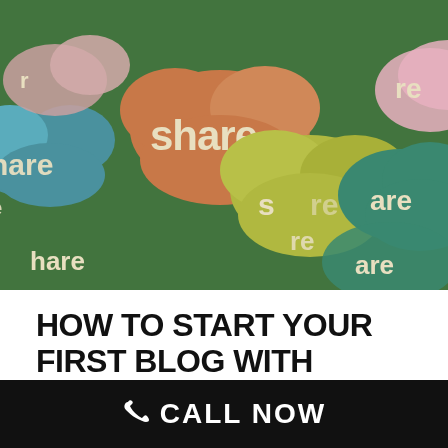[Figure (illustration): Colorful cloud-shaped bubbles with the word 'share' written in cream/white letters on various colored bubble shapes (teal, orange, olive/yellow-green, pink, green) against a green background]
HOW TO START YOUR FIRST BLOG WITH WORDPRESS
By simplemachine  Posted August 18, 2015  In Wordpress
Blogging. It is one of the better methods
CALL NOW